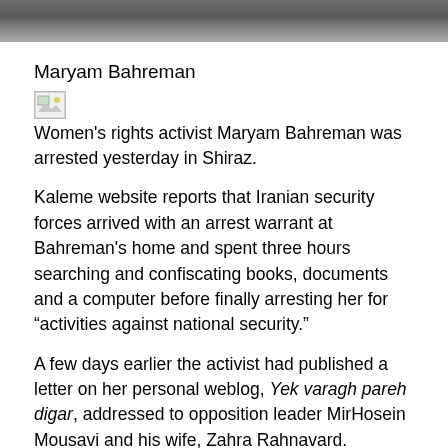[Figure (photo): Partial photo strip at the top of the page, showing the lower portion of a person's face/neck area in dark muted tones.]
Maryam Bahreman
[Figure (photo): Broken/missing image icon (small thumbnail placeholder)]
Women's rights activist Maryam Bahreman was arrested yesterday in Shiraz.
Kaleme website reports that Iranian security forces arrived with an arrest warrant at Bahreman's home and spent three hours searching and confiscating books, documents and a computer before finally arresting her for “activities against national security.”
A few days earlier the activist had published a letter on her personal weblog, Yek varagh pareh digar, addressed to opposition leader MirHosein Mousavi and his wife, Zahra Rahnavard.
The opposition has started a letter-writing campaign to